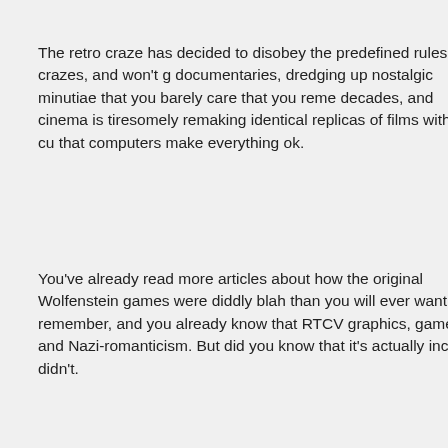The retro craze has decided to disobey the predefined rules of crazes, and won't go away. TV is making documentaries, dredging up nostalgic minutiae that you barely care that you remember from previous decades, and cinema is tiresomely remaking identical replicas of films with the current bonus feature that computers make everything ok.
You've already read more articles about how the original Wolfenstein games were blah blah blah diddly blah than you will ever want to remember, and you already know that RTCW improved on graphics, gameplay, and Nazi-romanticism. But did you know that it's actually incr... No, you didn't.
By plundering the idea of playing a soldier fighting against the evil Nazis and their occult shenanigans games, everything was set up for a good-old shooting romp. But id's eyes became slightly dazzled by the glittery gold of the modern sneak-n-snipe action that kids love so much more than once. The result is a split personality meaning certain levels are going to bore you if that isn't what that you were after. If you wanted Serious Sam-style Doom-esque shooting, you'll love one half. Medal of Honour style sneaking, you'll be happy for the other. But the two halves just don't mix.
However, this really shouldn't put you off playing it. The joyous thing is, the two halves are so good they're worth fighting through the half you don't like to get to them… if you see what I mean. It couldn't have been split into two distinct games, caged separately, and allowed to